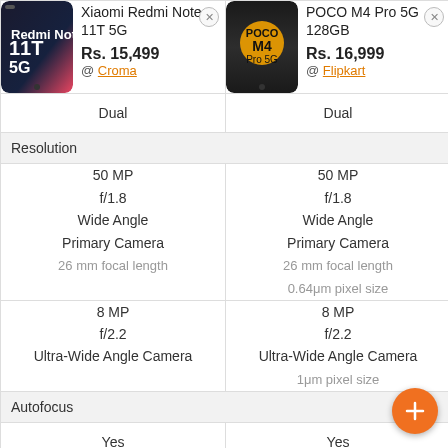| Xiaomi Redmi Note 11T 5G | POCO M4 Pro 5G 128GB |
| --- | --- |
| Dual | Dual |
| Resolution | Resolution |
| 50 MP
f/1.8
Wide Angle
Primary Camera
26 mm focal length | 50 MP
f/1.8
Wide Angle
Primary Camera
26 mm focal length
0.64μm pixel size |
| 8 MP
f/2.2
Ultra-Wide Angle Camera | 8 MP
f/2.2
Ultra-Wide Angle Camera
1μm pixel size |
| Autofocus | Autofocus |
| Yes | Yes |